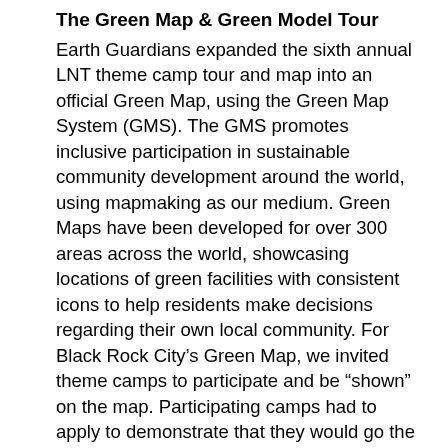The Green Map & Green Model Tour
Earth Guardians expanded the sixth annual LNT theme camp tour and map into an official Green Map, using the Green Map System (GMS). The GMS promotes inclusive participation in sustainable community development around the world, using mapmaking as our medium. Green Maps have been developed for over 300 areas across the world, showcasing locations of green facilities with consistent icons to help residents make decisions regarding their own local community. For Black Rock City's Green Map, we invited theme camps to participate and be “shown” on the map. Participating camps had to apply to demonstrate that they would go the extra mile and